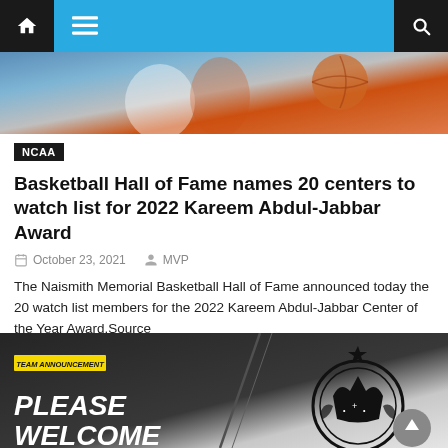Navigation bar with home, menu, and search icons
[Figure (photo): Basketball game action photo showing players in white and orange uniforms]
NCAA
Basketball Hall of Fame names 20 centers to watch list for 2022 Kareem Abdul-Jabbar Award
October 23, 2021   MVP
The Naismith Memorial Basketball Hall of Fame announced today the 20 watch list members for the 2022 Kareem Abdul-Jabbar Center of the Year Award.Source
[Figure (photo): Team announcement image with 'PLEASE WELCOME' text and a crown logo on dark background]